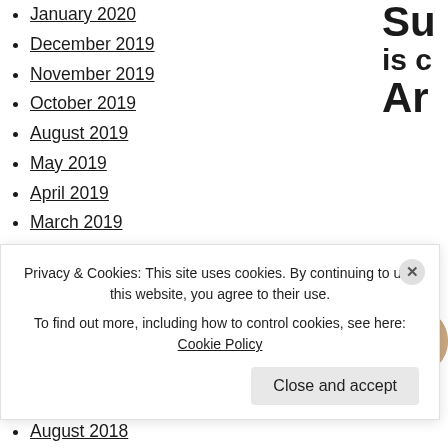January 2020
December 2019
November 2019
October 2019
August 2019
May 2019
April 2019
March 2019
February 2019
January 2019
December 2018
November 2018
October 2018
September 2018
August 2018
July 2018
[Figure (photo): Circular portrait photo of a woman]
Privacy & Cookies: This site uses cookies. By continuing to use this website, you agree to their use. To find out more, including how to control cookies, see here: Cookie Policy
Close and accept